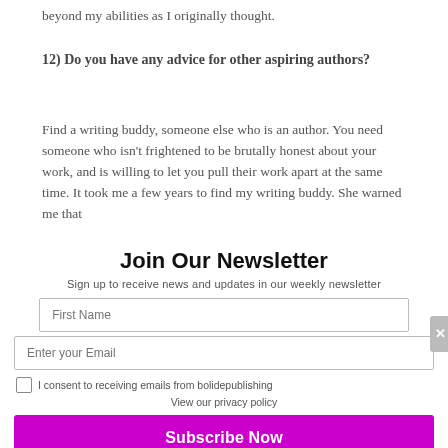beyond my abilities as I originally thought.
12) Do you have any advice for other aspiring authors?
Find a writing buddy, someone else who is an author. You need someone who isn't frightened to be brutally honest about your work, and is willing to let you pull their work apart at the same time. It took me a few years to find my writing buddy. She warned me that
Join Our Newsletter
Sign up to receive news and updates in our weekly newsletter
First Name
Enter your Email
I consent to receiving emails from bolidepublishing
View our privacy policy
Subscribe Now